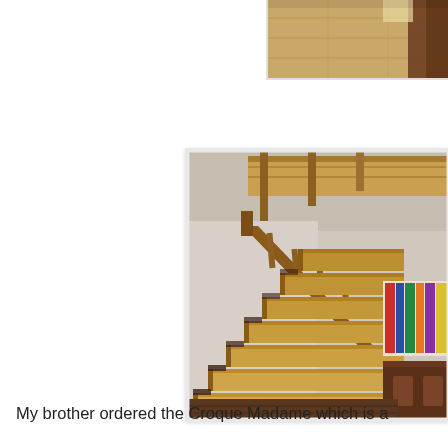[Figure (photo): Partial view of wooden furniture and flooring, top right corner, cropped]
[Figure (photo): Interior wooden staircase with railing, bookshelves visible in background, warm honey-toned wood steps and balustrade]
My brother ordered the Croque Madame which is a